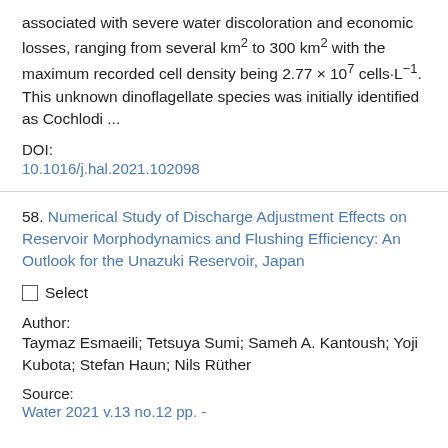associated with severe water discoloration and economic losses, ranging from several km² to 300 km² with the maximum recorded cell density being 2.77 × 10⁷ cells·L⁻¹. This unknown dinoflagellate species was initially identified as Cochlodi ...
DOI:
10.1016/j.hal.2021.102098
58. Numerical Study of Discharge Adjustment Effects on Reservoir Morphodynamics and Flushing Efficiency: An Outlook for the Unazuki Reservoir, Japan
Select
Author:
Taymaz Esmaeili; Tetsuya Sumi; Sameh A. Kantoush; Yoji Kubota; Stefan Haun; Nils Rüther
Source:
Water 2021 v.13 no.12 pp. -